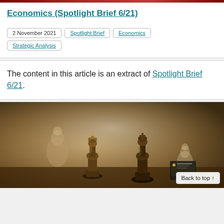Economics (Spotlight Brief 6/21)
2 November 2021 | Spotlight Brief | Economics | Strategic Analysis
The content in this article is an extract of Spotlight Brief 6/21.
[Figure (photo): Chess pieces on a chess board, close-up photo showing dark wooden queen and king pieces in focus with blurred pieces in background. A small book/document thumbnail is visible in the bottom right corner.]